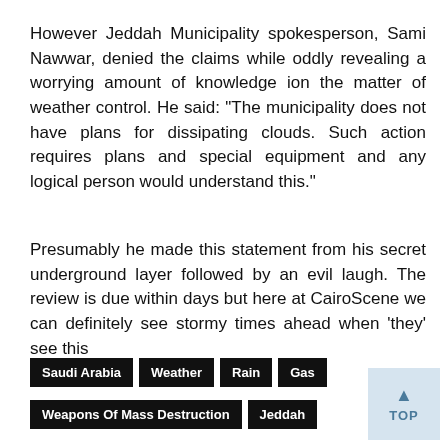However Jeddah Municipality spokesperson, Sami Nawwar, denied the claims while oddly revealing a worrying amount of knowledge ion the matter of weather control. He said: "The municipality does not have plans for dissipating clouds. Such action requires plans and special equipment and any logical person would understand this."
Presumably he made this statement from his secret underground layer followed by an evil laugh. The review is due within days but here at CairoScene we can definitely see stormy times ahead when 'they' see this
Saudi Arabia
Weather
Rain
Gas
Weapons Of Mass Destruction
Jeddah